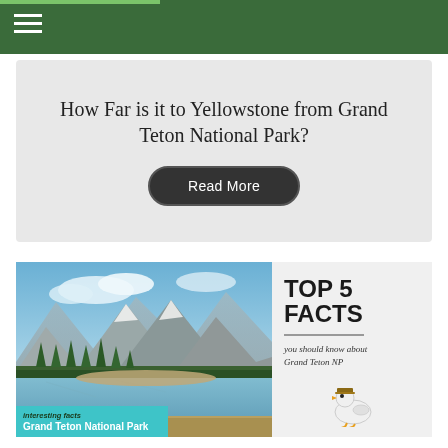Navigation bar with hamburger menu
How Far is it to Yellowstone from Grand Teton National Park?
Read More
[Figure (photo): Mountain lake landscape with tall peaks, evergreen trees, and calm reflective water. Caption overlay reads: interesting facts / Grand Teton National Park]
interesting facts
Grand Teton National Park
[Figure (infographic): TOP 5 FACTS you should know about Grand Teton NP infographic panel with cartoon duck character at bottom]